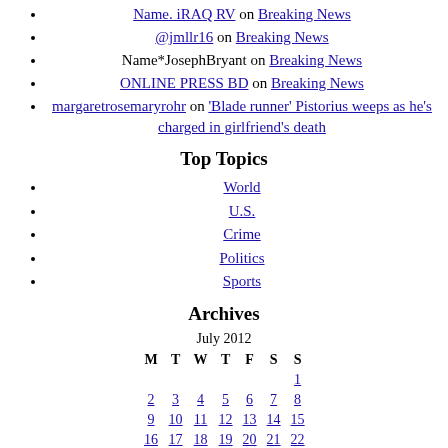Name. iRAQ RV on Breaking News
@jmllr16 on Breaking News
Name*JosephBryant on Breaking News
ONLINE PRESS BD on Breaking News
margaretrosemaryrohr on 'Blade runner' Pistorius weeps as he's charged in girlfriend's death
Top Topics
World
U.S.
Crime
Politics
Sports
Archives
July 2012
| M | T | W | T | F | S | S |
| --- | --- | --- | --- | --- | --- | --- |
|  |  |  |  |  |  | 1 |
| 2 | 3 | 4 | 5 | 6 | 7 | 8 |
| 9 | 10 | 11 | 12 | 13 | 14 | 15 |
| 16 | 17 | 18 | 19 | 20 | 21 | 22 |